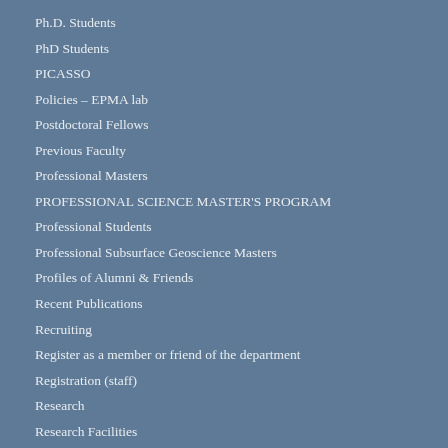Ph.D. Students
PhD Students
PICASSO
Policies – EPMA lab
Postdoctoral Fellows
Previous Faculty
Professional Masters
PROFESSIONAL SCIENCE MASTER'S PROGRAM
Professional Students
Professional Subsurface Geoscience Masters
Profiles of Alumni & Friends
Recent Publications
Recruiting
Register as a member or friend of the department
Registration (staff)
Research
Research Facilities